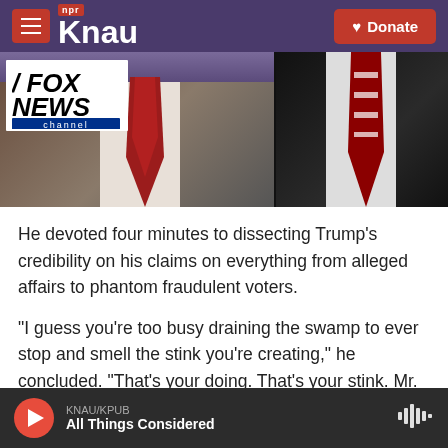KNAU NPR | Donate
[Figure (screenshot): Split image showing Fox News logo on left side with two men in suits and red ties]
He devoted four minutes to dissecting Trump's credibility on his claims on everything from alleged affairs to phantom fraudulent voters.
"I guess you're too busy draining the swamp to ever stop and smell the stink you're creating," he concluded. "That's your doing. That's your stink. Mr. President, that's your swamp."
That Cavuto is on the air at all is remarkable. He
KNAU/KPUB All Things Considered